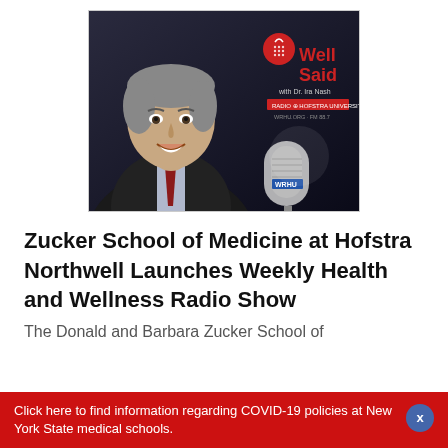[Figure (photo): Photo of Dr. Ira Nash smiling in a suit, seated in front of a radio studio backdrop showing the 'Well Said with Dr. Ira Nash' WRHU Hofstra University radio show logo. A WRHU microphone is visible in the foreground right.]
Zucker School of Medicine at Hofstra Northwell Launches Weekly Health and Wellness Radio Show
The Donald and Barbara Zucker School of
Click here to find information regarding COVID-19 policies at New York State medical schools.